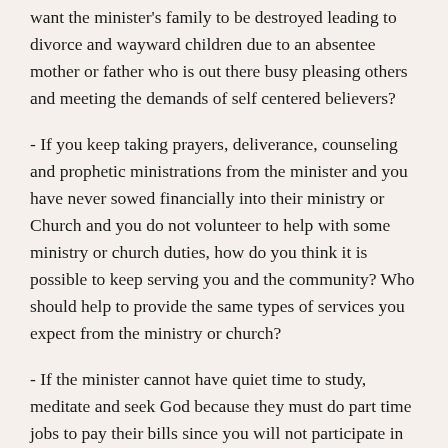want the minister's family to be destroyed leading to divorce and wayward children due to an absentee mother or father who is out there busy pleasing others and meeting the demands of self centered believers?
- If you keep taking prayers, deliverance, counseling and prophetic ministrations from the minister and you have never sowed financially into their ministry or Church and you do not volunteer to help with some ministry or church duties, how do you think it is possible to keep serving you and the community? Who should help to provide the same types of services you expect from the ministry or church?
- If the minister cannot have quiet time to study, meditate and seek God because they must do part time jobs to pay their bills since you will not participate in supporting them, what type of anointing do you think the minister carries? This explains why many ministers are spiritually dry and therefore next time you show up, they will minister from